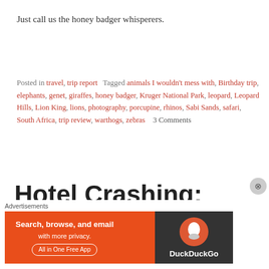Just call us the honey badger whisperers.
Posted in travel, trip report   Tagged animals I wouldn't mess with, Birthday trip, elephants, genet, giraffes, honey badger, Kruger National Park, leopard, Leopard Hills, Lion King, lions, photography, porcupine, rhinos, Sabi Sands, safari, South Africa, trip review, warthogs, zebras   3 Comments
Hotel Crashing: Leopard Hills Private
[Figure (screenshot): DuckDuckGo advertisement banner: orange background with text 'Search, browse, and email with more privacy. All in One Free App' and DuckDuckGo logo on dark background]